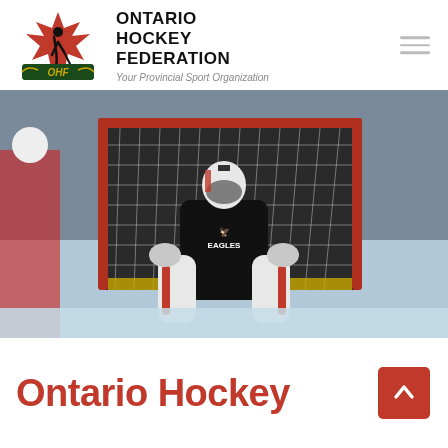[Figure (logo): Ontario Hockey Federation logo with maple leaf and OHF text]
ONTARIO HOCKEY FEDERATION
Your Provincial Sport Organization
[Figure (photo): Hockey goalie in Eagles jersey in front of a hockey net on ice]
Ontario Hockey